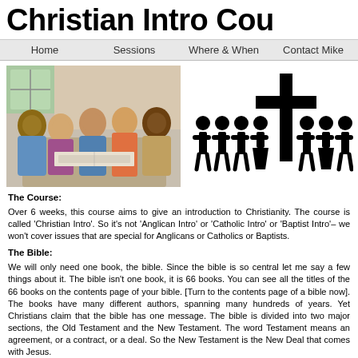Christian Intro Cou
Home   Sessions   Where & When   Contact Mike
[Figure (photo): Group of five adults sitting together studying the Bible, smiling and engaged in discussion]
[Figure (illustration): Black silhouette icon showing a cross with groups of human figures standing on either side, representing a church community]
The Course:
Over 6 weeks, this course aims to give an introduction to Christianity.  The course is called 'Christian Intro'.  So it's not 'Anglican Intro' or 'Catholic Intro' or 'Baptist Intro'– we won't cover issues that are special for Anglicans or Catholics or Baptists.
The Bible:
We will only need one book, the bible.  Since the bible is so central let me say a few things about it. The bible isn't one book, it is 66 books.  You can see all the titles of the 66 books on the contents page of your bible. [Turn to the contents page of a bible now].  The books have many different authors, spanning many hundreds of years.  Yet Christians claim that the bible has one message. The bible is divided into two major sections, the Old Testament and the New Testament.  The word Testament means an agreement, or a contract, or a deal.  So the New Testament is the New Deal that comes with Jesus.
The Gospel of Luke: